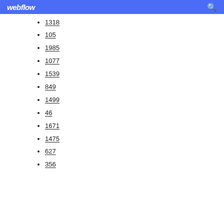webflow
1318
105
1985
1077
1539
849
1499
46
1671
1475
627
356